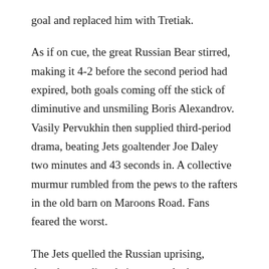goal and replaced him with Tretiak.
As if on cue, the great Russian Bear stirred, making it 4-2 before the second period had expired, both goals coming off the stick of diminutive and unsmiling Boris Alexandrov. Vasily Pervukhin then supplied third-period drama, beating Jets goaltender Joe Daley two minutes and 43 seconds in. A collective murmur rumbled from the pews to the rafters in the old barn on Maroons Road. Fans feared the worst.
The Jets quelled the Russian uprising, though, guarding their one-goal advantage with Scrooge-like stinginess until Hull converted Dunn’s pass into his third score and the Jets’ fifth, eight seconds from time.